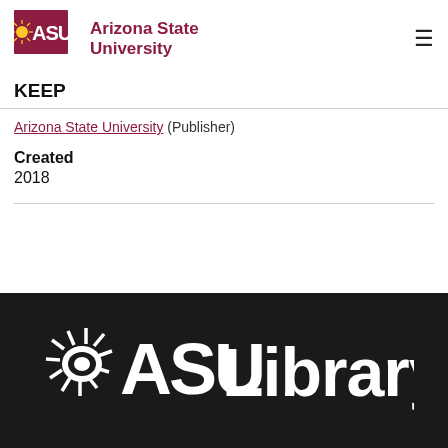[Figure (logo): Arizona State University logo with ASU text in maroon and gold sunburst, and 'Arizona State University' text next to it]
KEEP
Arizona State University (Publisher)
Created
2018
[Figure (logo): ASU Library white logo on black background — large ASU mark with sunburst and 'Library' text in white]